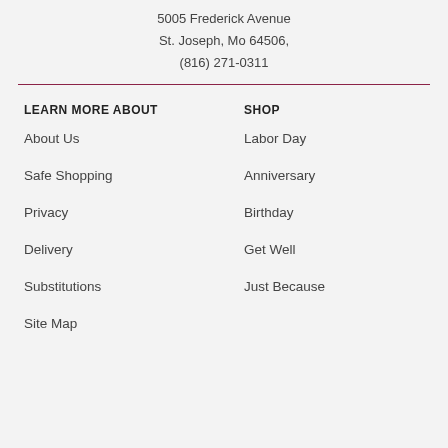5005 Frederick Avenue
St. Joseph, Mo 64506,
(816) 271-0311
LEARN MORE ABOUT
SHOP
About Us
Labor Day
Safe Shopping
Anniversary
Privacy
Birthday
Delivery
Get Well
Substitutions
Just Because
Site Map